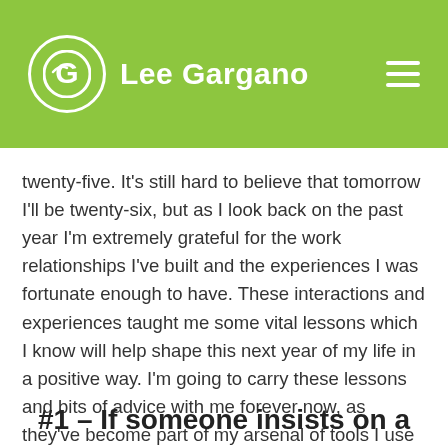Lee Gargano
twenty-five. It’s still hard to believe that tomorrow I’ll be twenty-six, but as I look back on the past year I’m extremely grateful for the work relationships I’ve built and the experiences I was fortunate enough to have. These interactions and experiences taught me some vital lessons which I know will help shape this next year of my life in a positive way. I’m going to carry these lessons and bits of advice with me forever now, as they’ve become part of my arsenal of tools I use when designing anything.
#1 – If someone insists on a